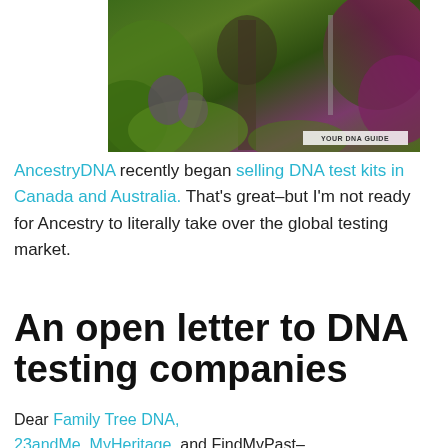[Figure (photo): Outdoor garden scene with lush green and purple plants, with a watermark label reading YOUR DNA GUIDE in the lower right corner.]
AncestryDNA recently began selling DNA test kits in Canada and Australia. That's great–but I'm not ready for Ancestry to literally take over the global testing market.
An open letter to DNA testing companies
Dear Family Tree DNA, 23andMe, MyHeritage, and FindMyPast–